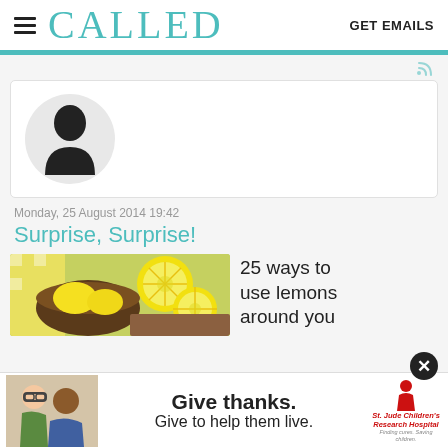CALLED   GET EMAILS
[Figure (illustration): User profile placeholder with silhouette avatar inside a circular frame on a white card]
Monday, 25 August 2014 19:42
Surprise, Surprise!
[Figure (photo): Lemons in a bowl and sliced lemons on a wooden board]
25 ways to use lemons around you
[Figure (infographic): St. Jude Children's Research Hospital advertisement: Give thanks. Give to help them live. Two children on left, St. Jude logo on right.]